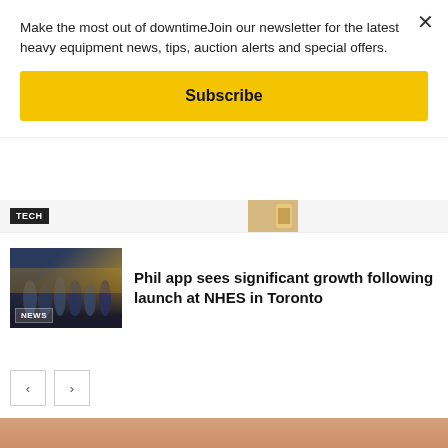Make the most out of downtimeJoin our newsletter for the latest heavy equipment news, tips, auction alerts and special offers.
Subscribe
[Figure (photo): TECH category thumbnail image showing a hand]
Phil app sees significant growth following launch at NHES in Toronto
[Figure (photo): NEWS thumbnail showing group of people at an equipment show, yellow machinery in background]
< >
[Figure (photo): Large bottom photo of a truck/heavy equipment at sunset/dusk with reddish sky]